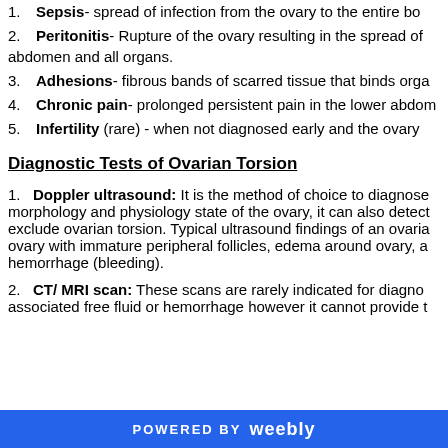1. Sepsis- spread of infection from the ovary to the entire body
2. Peritonitis- Rupture of the ovary resulting in the spread of abdomen and all organs.
3. Adhesions- fibrous bands of scarred tissue that binds organs
4. Chronic pain- prolonged persistent pain in the lower abdom
5. Infertility (rare) - when not diagnosed early and the ovary
Diagnostic Tests of Ovarian Torsion
1. Doppler ultrasound: It is the method of choice to diagnose morphology and physiology state of the ovary, it can also detect exclude ovarian torsion. Typical ultrasound findings of an ovarian ovary with immature peripheral follicles, edema around ovary, a hemorrhage (bleeding).
2. CT/ MRI scan: These scans are rarely indicated for diagno associated free fluid or hemorrhage however it cannot provide t
POWERED BY weebly